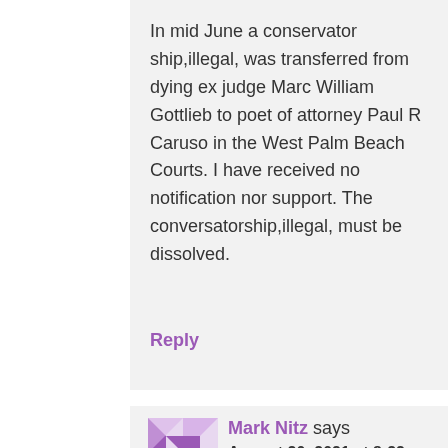In mid June a conservator ship,illegal, was transferred from dying ex judge Marc William Gottlieb to poet of attorney Paul R Caruso in the West Palm Beach Courts. I have received no notification nor support. The conversatorship,illegal, must be dissolved.
Reply
Mark Nitz says
August 20, 2021 at 8:22 pm
Pretty! This has been a really